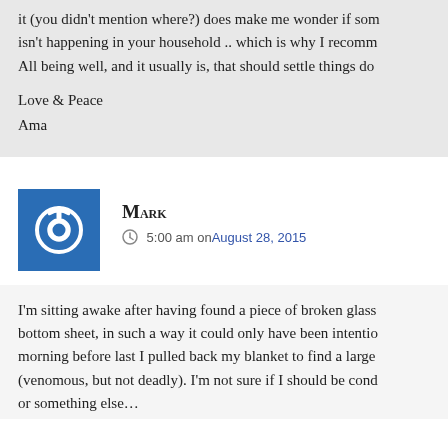it (you didn't mention where?) does make me wonder if som isn't happening in your household .. which is why I recomm All being well, and it usually is, that should settle things do
Love & Peace
Ama
Mark
5:00 am on August 28, 2015
I'm sitting awake after having found a piece of broken glass bottom sheet, in such a way it could only have been intentio morning before last I pulled back my blanket to find a large (venomous, but not deadly). I'm not sure if I should be cond or something else…